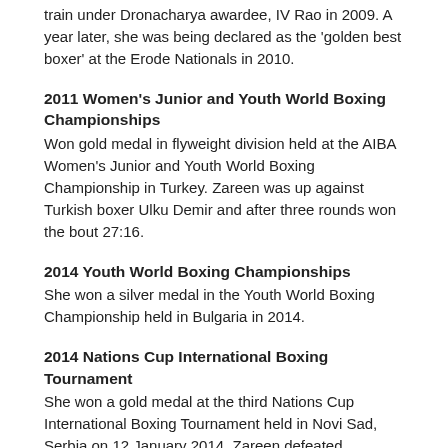train under Dronacharya awardee, IV Rao in 2009. A year later, she was being declared as the 'golden best boxer' at the Erode Nationals in 2010.
2011 Women's Junior and Youth World Boxing Championships
Won gold medal in flyweight division held at the AIBA Women's Junior and Youth World Boxing Championship in Turkey. Zareen was up against Turkish boxer Ulku Demir and after three rounds won the bout 27:16.
2014 Youth World Boxing Championships
She won a silver medal in the Youth World Boxing Championship held in Bulgaria in 2014.
2014 Nations Cup International Boxing Tournament
She won a gold medal at the third Nations Cup International Boxing Tournament held in Novi Sad, Serbia on 12 January 2014. Zareen defeated Paltceva Ekaterina of Russia in the 51 kg weight category.
2015 16th Senior Woman National Boxing Championship